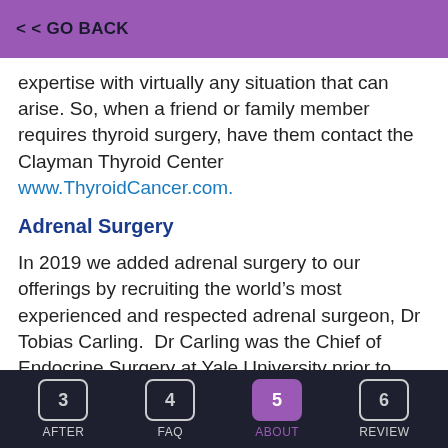GO BACK
expertise with virtually any situation that can arise. So, when a friend or family member requires thyroid surgery, have them contact the Clayman Thyroid Center www.ThyroidCancer.com.
Adrenal Surgery
In 2019 we added adrenal surgery to our offerings by recruiting the world’s most experienced and respected adrenal surgeon, Dr Tobias Carling.  Dr Carling was the Chief of Endocrine Surgery at Yale University prior to joining Drs Norman and Clayman in Tampa. More adrenal operations are performed here than at any other hospital in the world. Read more about the Carling Adrenal Center at
3 AFTER  4 FAQ  5 ABOUT  6 REVIEW